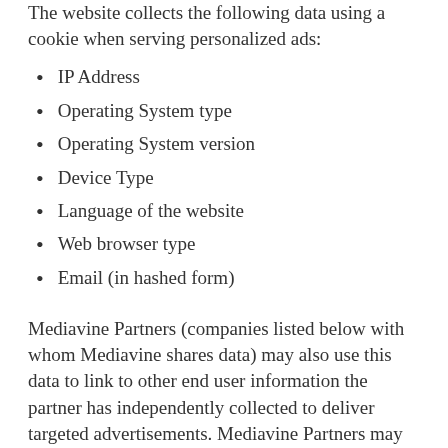The website collects the following data using a cookie when serving personalized ads:
IP Address
Operating System type
Operating System version
Device Type
Language of the website
Web browser type
Email (in hashed form)
Mediavine Partners (companies listed below with whom Mediavine shares data) may also use this data to link to other end user information the partner has independently collected to deliver targeted advertisements. Mediavine Partners may also separately collect data about end users from other